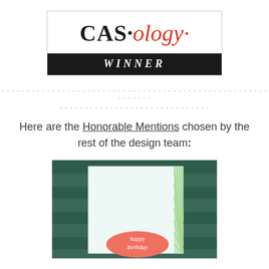[Figure (logo): CAS·ology Winner logo badge with black serif text 'CAS' and red italic 'ology' with a dot, and a black banner reading 'WINNER' in white italic letters]
---------------------------------------------------------------------------------------------------------------------
--------------------------------
Here are the Honorable Mentions chosen by the rest of the design team:
[Figure (photo): Photo of a birthday card with a teal/dark green background, a white card center with a green striped ribbon on the right, and a coral oval badge at the bottom reading 'happy birthday' in white script]